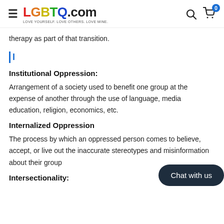LGBTQ.com — Love yourself. Love others. Love mine.
therapy as part of that transition.
I
Institutional Oppression:
Arrangement of a society used to benefit one group at the expense of another through the use of language, media education, religion, economics, etc.
Internalized Oppression
The process by which an oppressed person comes to believe, accept, or live out the inaccurate stereotypes and misinformation about their group
Intersectionality: